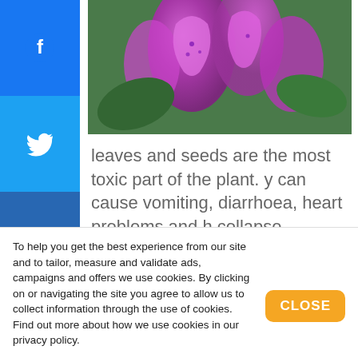[Figure (photo): Close-up photo of purple foxglove flowers with green foliage in background]
leaves and seeds are the most toxic part of the plant. y can cause vomiting, diarrhoea, heart problems and h collapse.
eranium
[Figure (photo): Close-up photo of red geranium flowers with green background]
To help you get the best experience from our site and to tailor, measure and validate ads, campaigns and offers we use cookies. By clicking on or navigating the site you agree to allow us to collect information through the use of cookies. Find out more about how we use cookies in our privacy policy.